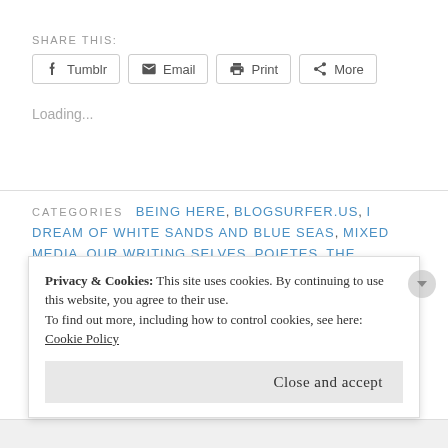SHARE THIS:
[Figure (screenshot): Share buttons: Tumblr, Email, Print, More]
Loading...
CATEGORIES  BEING HERE, BLOGSURFER.US, I DREAM OF WHITE SANDS AND BLUE SEAS, MIXED MEDIA, OUR WRITING SELVES, POIETES, THE READING LIST, WORDPRESS.COM, WRITING BLOGS
TAGS  ANDRÉ KERTÉSZ, ANDREAS FEININGER
Privacy & Cookies: This site uses cookies. By continuing to use this website, you agree to their use. To find out more, including how to control cookies, see here: Cookie Policy
Close and accept